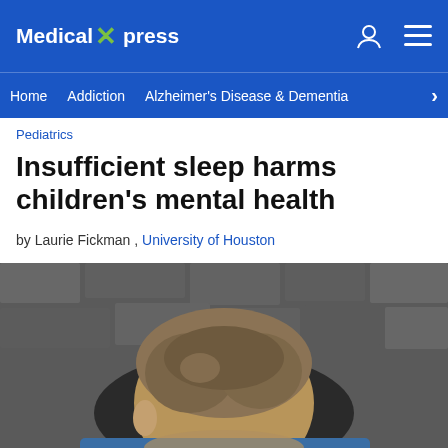Medical Xpress
Home  Addiction  Alzheimer's Disease & Dementia
Pediatrics
Insufficient sleep harms children's mental health
by Laurie Fickman , University of Houston
[Figure (photo): Black and white photo of a young boy with head bowed, seen from behind/side, appearing distressed or tired]